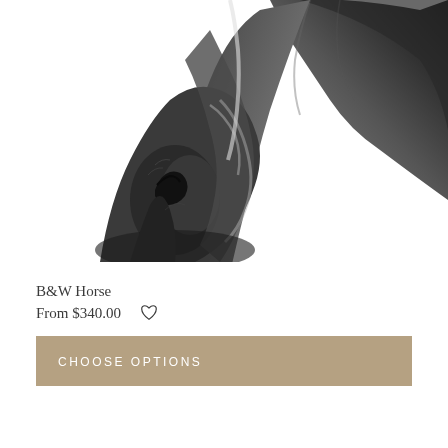[Figure (photo): Close-up black and white photograph of a horse's nose and muzzle with the neck curving upward to the right, on a white background]
B&W Horse
From $340.00
CHOOSE OPTIONS